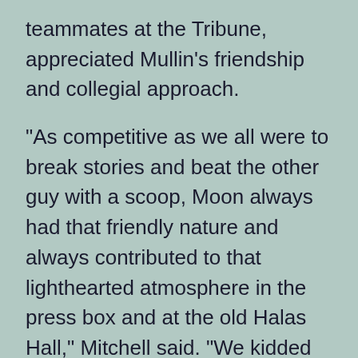teammates at the Tribune, appreciated Mullin’s friendship and collegial approach.
“As competitive as we all were to break stories and beat the other guy with a scoop, Moon always had that friendly nature and always contributed to that lighthearted atmosphere in the press box and at the old Halas Hall,” Mitchell said. “We kidded each other a lot. We had a lot of fun.
“To be able to balance that competitive spirit with that light energy and all the back-and-forth teasing was fantastic. There’s a lot of pressure